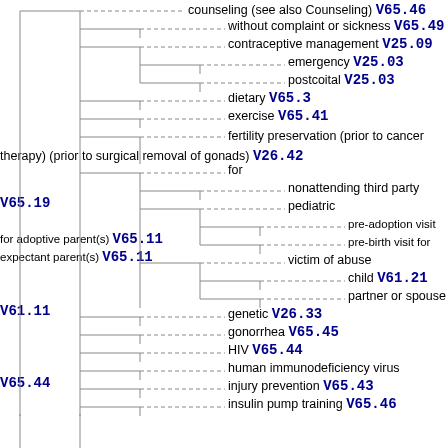counseling (see also Counseling) V65.46
without complaint or sickness V65.49
contraceptive management V25.09
emergency V25.03
postcoital V25.03
dietary V65.3
exercise V65.41
fertility preservation (prior to cancer therapy) (prior to surgical removal of gonads) V26.42
for
nonattending third party V65.19
pediatric
pre-adoption visit for adoptive parent(s) V65.11
pre-birth visit for expectant parent(s) V65.11
victim of abuse
child V61.21
partner or spouse V61.11
genetic V26.33
gonorrhea V65.45
HIV V65.44
human immunodeficiency virus V65.44
injury prevention V65.43
insulin pump training V65.46